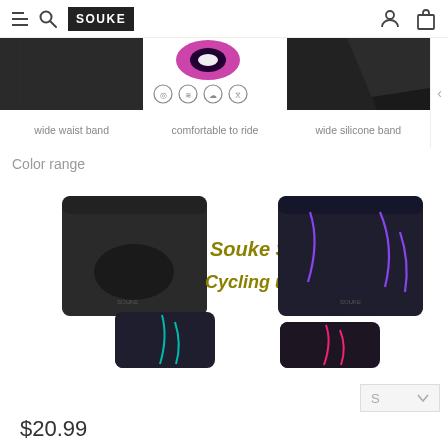SOUKE — navigation header with menu, logo, user and cart icons
[Figure (photo): Three product feature images: wide waist band (dark fabric), comfortable to ride (purple pad with icons), wide silicone band (dark fabric folded)]
wide waist band   comfortable to ride   wide silicone band
Color range
[Figure (photo): Color range product collage: four pairs of cycling undershorts in black with different accent colors (plain, purple/blue, teal, pink), center text reads 'Souke Sports Cycling undewear' in olive/gold italic]
$20.99